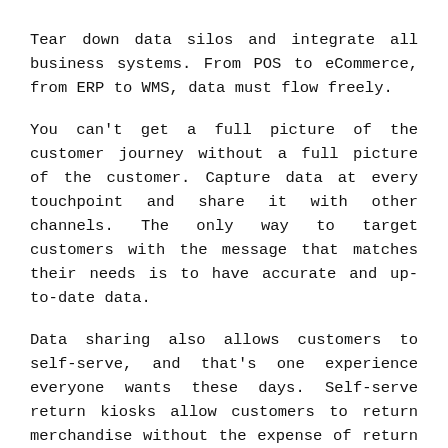Tear down data silos and integrate all business systems. From POS to eCommerce, from ERP to WMS, data must flow freely.
You can't get a full picture of the customer journey without a full picture of the customer. Capture data at every touchpoint and share it with other channels. The only way to target customers with the message that matches their needs is to have accurate and up-to-date data.
Data sharing also allows customers to self-serve, and that's one experience everyone wants these days. Self-serve return kiosks allow customers to return merchandise without the expense of return freight. Online surveys can obtain insights into in-store experiences.
Step 5 – Personalize the Experience